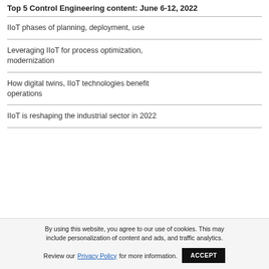Top 5 Control Engineering content: June 6-12, 2022
IIoT phases of planning, deployment, use
Leveraging IIoT for process optimization, modernization
How digital twins, IIoT technologies benefit operations
IIoT is reshaping the industrial sector in 2022
By using this website, you agree to our use of cookies. This may include personalization of content and ads, and traffic analytics. Review our Privacy Policy for more information. ACCEPT